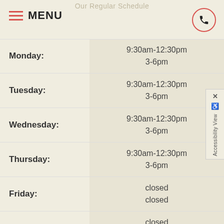Our Regular Schedule
| Day | Hours |
| --- | --- |
| Monday: | 9:30am-12:30pm
3-6pm |
| Tuesday: | 9:30am-12:30pm
3-6pm |
| Wednesday: | 9:30am-12:30pm
3-6pm |
| Thursday: | 9:30am-12:30pm
3-6pm |
| Friday: | closed
closed |
| Saturday: | closed
closed |
| Sunday: | closed |